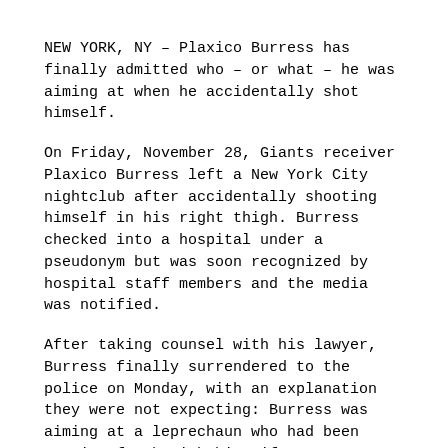NEW YORK, NY – Plaxico Burress has finally admitted who – or what – he was aiming at when he accidentally shot himself.
On Friday, November 28, Giants receiver Plaxico Burress left a New York City nightclub after accidentally shooting himself in his right thigh. Burress checked into a hospital under a pseudonym but was soon recognized by hospital staff members and the media was notified.
After taking counsel with his lawyer, Burress finally surrendered to the police on Monday, with an explanation they were not expecting: Burress was aiming at a leprechaun who had been getting fresh with his wife!
Weekly World News tracked the leprechaun down for his side of the story. Seamus O'Shaughnessy said to reporters "I dinnea lay a hand on the lass tha' she dinnea want!  She made the first move sure as I'm standin' here!  He asked for an apology, an' sure enough he got it!  Not my fault if the dafty missed and his gun went and…"